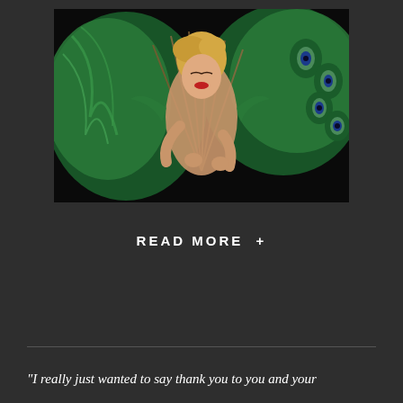[Figure (photo): A performer posing with large green feathered fans including peacock feathers, wearing minimal costume, against a dark black background. She has blonde upswept hair and dramatic makeup.]
READ MORE  +
"I really just wanted to say thank you to you and your